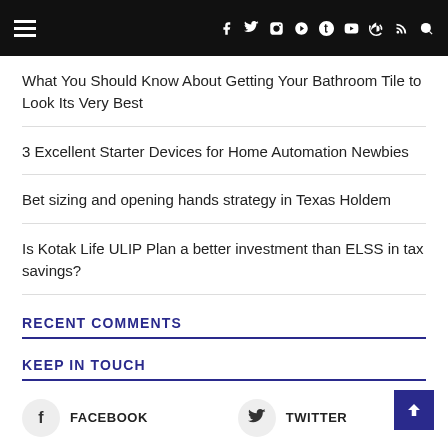Navigation bar with hamburger menu and social icons
What You Should Know About Getting Your Bathroom Tile to Look Its Very Best
3 Excellent Starter Devices for Home Automation Newbies
Bet sizing and opening hands strategy in Texas Holdem
Is Kotak Life ULIP Plan a better investment than ELSS in tax savings?
RECENT COMMENTS
KEEP IN TOUCH
FACEBOOK  TWITTER